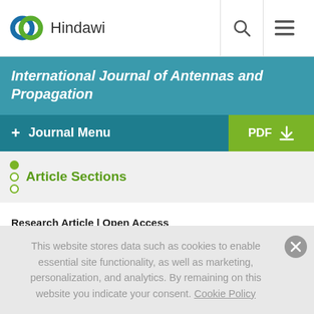Hindawi
International Journal of Antennas and Propagation
+ Journal Menu  PDF ↓
Article Sections
Research Article | Open Access
Volume 2014 | Article ID 172924 |
https://doi.org/10.1155/2014/172924
This website stores data such as cookies to enable essential site functionality, as well as marketing, personalization, and analytics. By remaining on this website you indicate your consent. Cookie Policy